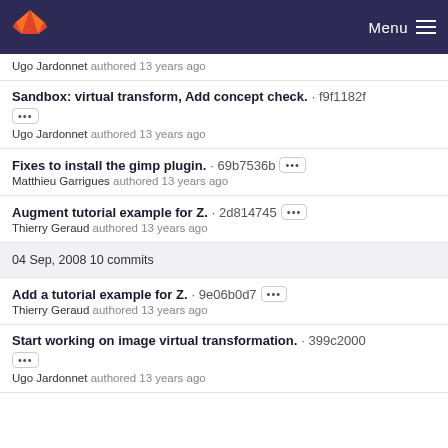Menu
Ugo Jardonnet authored 13 years ago
Sandbox: virtual transform, Add concept check. · f9f1182f
Ugo Jardonnet authored 13 years ago
Fixes to install the gimp plugin. · 69b7536b
Matthieu Garrigues authored 13 years ago
Augment tutorial example for Z. · 2d814745
Thierry Geraud authored 13 years ago
04 Sep, 2008 10 commits
Add a tutorial example for Z. · 9e06b0d7
Thierry Geraud authored 13 years ago
Start working on image virtual transformation. · 399c2000
Ugo Jardonnet authored 13 years ago